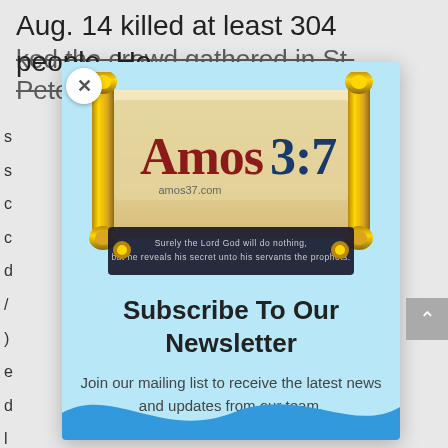Aug. 14 killed at least 304 people. He
ked the crowd gathered in St. Petersb...
[Figure (screenshot): A modal popup overlay on a light blue background showing the Amos 3:7 website logo (a scroll with 'Amos3:7' text and tagline 'Surely the Lord God will do nothing, but he reveals his secret unto his servants the prophets.'), with a newsletter subscription prompt: 'Subscribe To Our Newsletter — Join our mailing list to receive the latest news and updates from our team.' A blue wave decorates the bottom. An X close button is in the upper left of the modal.]